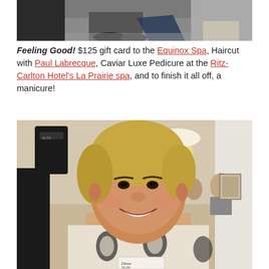[Figure (photo): Cropped top portion of a photo showing lower body/legs of people at an event]
Feeling Good! $125 gift card to the Equinox Spa, Haircut with Paul Labrecque, Caviar Luxe Pedicure at the Ritz-Carlton Hotel's La Prairie spa, and to finish it all off, a manicure!
[Figure (photo): Smiling older woman with short blonde hair wearing a patterned black and white top with a nametag reading 'Diane', at an indoor event]